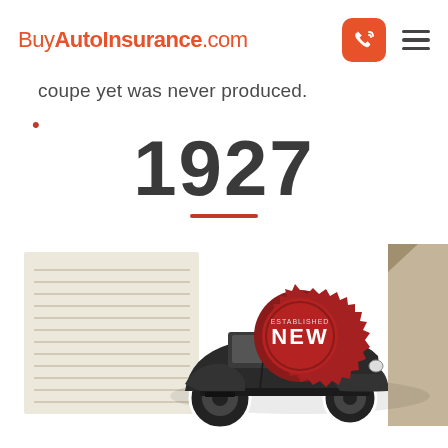BuyAutoInsurance.com
coupe yet was never produced.
1927
[Figure (illustration): Vintage 1927 automobile illustration with a red wax seal stamp reading NEW, shown on a lined paper background with a folded tan paper on the right side.]